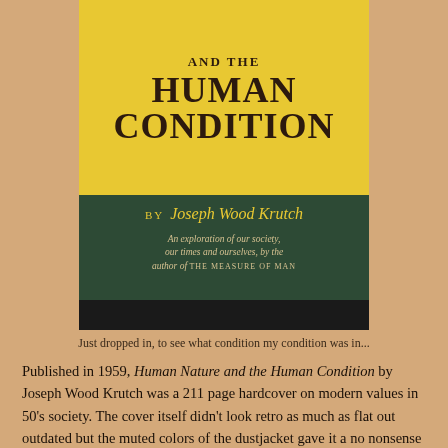[Figure (photo): Photograph of a book cover: 'And the Human Condition' by Joseph Wood Krutch. Yellow top portion with dark bold title text, dark green lower portion with author name in gold italic and subtitle text 'An exploration of our society, our times and ourselves, by the author of THE MEASURE OF MAN'.]
Just dropped in, to see what condition my condition was in...
Published in 1959, Human Nature and the Human Condition by Joseph Wood Krutch was a 211 page hardcover on modern values in 50's society. The cover itself didn't look retro as much as flat out outdated but the muted colors of the dustjacket gave it a no nonsense feel that did not betray the text. Interestingly, it had deckled pages, which seems extravagant for a book of this subject matter. While devoid of images inside, the back cover did have a full page photo of the author, who looked like a cross between James Joyce and John Cleese.